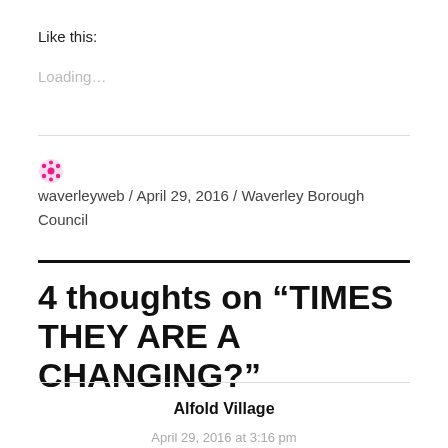Like this:
Loading...
waverleyweb / April 29, 2016 / Waverley Borough Council
4 thoughts on “TIMES THEY ARE A CHANGING?”
Alfold Village
April 29, 2016 at 3:16 pm